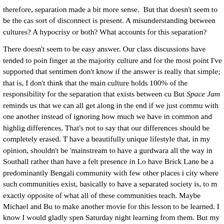therefore, separation made a bit more sense.  But that doesn't seem to be the cas sort of disconnect is present. A misunderstanding between cultures? A hypocrisy or both? What accounts for this separation?

There doesn't seem to be easy answer. Our class discussions have tended to poin finger at the majority culture and for the most point I've supported that sentimen don't know if the answer is really that simple; that is, I don't think that the main culture holds 100% of the responsibility for the separation that exists between cu But Space Jam reminds us that we can all get along in the end if we just commu with one another instead of ignoring how much we have in common and highlig differences. That's not to say that our differences should be completely erased. T have a beautifully unique lifestyle that, in my opinion, shouldn't be 'mainstream to have a gurdwara all the way in Southall rather than have a felt presence in Lo have Brick Lane be a predominantly Bengali community with few other places i city where such communities exist, basically to have a separated society is, to m exactly opposite of what all of these communities teach. Maybe Michael and Bu to make another movie for this lesson to be learned. I know I would gladly spen Saturday night learning from them. But my hope is that the lesson isn't just taug Clearly, that is already happening. The hope is that the lesson starts being learne